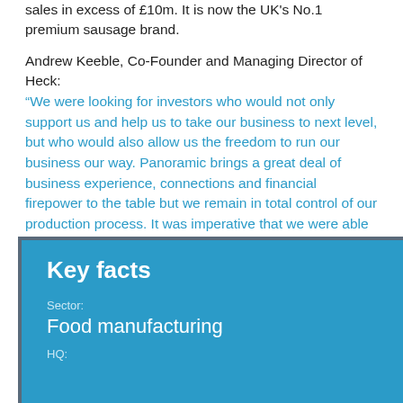sales in excess of £10m. It is now the UK's No.1 premium sausage brand.
Andrew Keeble, Co-Founder and Managing Director of Heck:
“We were looking for investors who would not only support us and help us to take our business to next level, but who would also allow us the freedom to run our business our way. Panoramic brings a great deal of business experience, connections and financial firepower to the table but we remain in total control of our production process. It was imperative that we were able to work with external investors in that spirit.”
Key facts
Sector:
Food manufacturing
HQ: